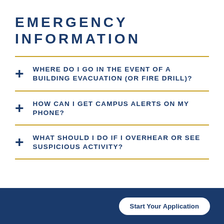EMERGENCY INFORMATION
WHERE DO I GO IN THE EVENT OF A BUILDING EVACUATION (OR FIRE DRILL)?
HOW CAN I GET CAMPUS ALERTS ON MY PHONE?
WHAT SHOULD I DO IF I OVERHEAR OR SEE SUSPICIOUS ACTIVITY?
Start Your Application